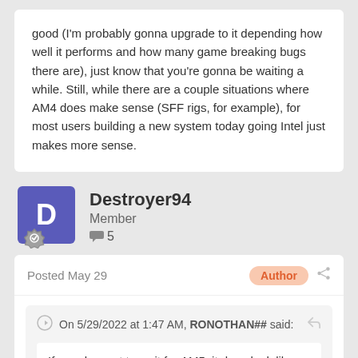good (I'm probably gonna upgrade to it depending how well it performs and how many game breaking bugs there are), just know that you're gonna be waiting a while. Still, while there are a couple situations where AM4 does make sense (SFF rigs, for example), for most users building a new system today going Intel just makes more sense.
Destroyer94
Member
5
Posted May 29
Author
On 5/29/2022 at 1:47 AM, RONOTHAN## said:
If you do want to wait for AM5, it does look like it's gonna be good